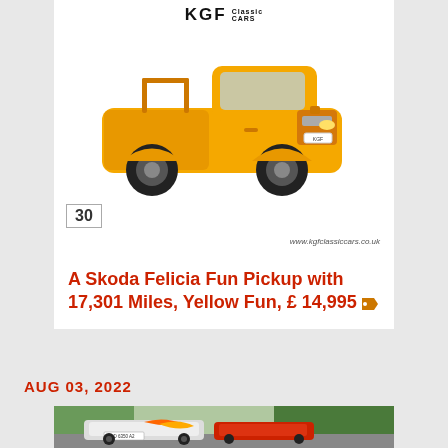[Figure (photo): Yellow Skoda Felicia Fun Pickup truck on white background with KGF Classic Cars logo at top]
30
www.kgfclassiccars.co.uk
A Skoda Felicia Fun Pickup with 17,301 Miles, Yellow Fun, £ 14,995
AUG 03, 2022
[Figure (photo): Race cars on a track, one with flame livery and license plate D 6350 AZ]